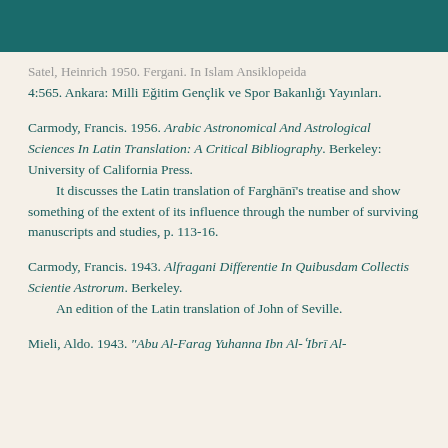Satel, Heinrich 1950. Fergani. In Islam Ansiklopeida 4:565. Ankara: Milli Eğitim Gençlik ve Spor Bakanlığı Yayınları.
Carmody, Francis. 1956. Arabic Astronomical And Astrological Sciences In Latin Translation: A Critical Bibliography. Berkeley: University of California Press. It discusses the Latin translation of Farghānī's treatise and show something of the extent of its influence through the number of surviving manuscripts and studies, p. 113-16.
Carmody, Francis. 1943. Alfragani Differentie In Quibusdam Collectis Scientie Astrorum. Berkeley. An edition of the Latin translation of John of Seville.
Mieli, Aldo. 1943. "Abu Al-Farag Yuhanna Ibn Al-ʿIbrī Al-..."